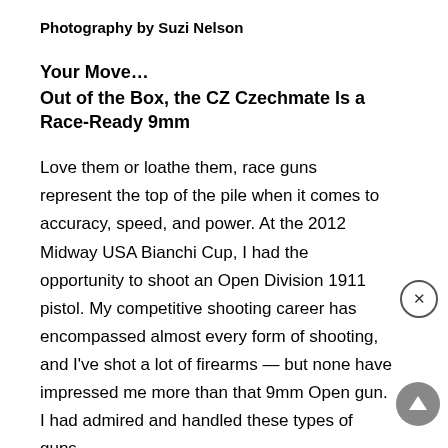Photography by Suzi Nelson
Your Move…
Out of the Box, the CZ Czechmate Is a Race-Ready 9mm
Love them or loathe them, race guns represent the top of the pile when it comes to accuracy, speed, and power. At the 2012 Midway USA Bianchi Cup, I had the opportunity to shoot an Open Division 1911 pistol. My competitive shooting career has encompassed almost every form of shooting, and I've shot a lot of firearms — but none have impressed me more than that 9mm Open gun. I had admired and handled these types of guns